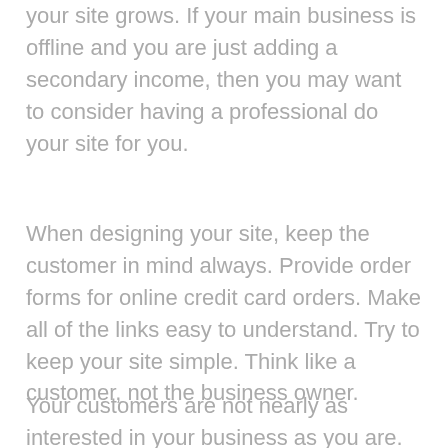your site grows. If your main business is offline and you are just adding a secondary income, then you may want to consider having a professional do your site for you.
When designing your site, keep the customer in mind always. Provide order forms for online credit card orders. Make all of the links easy to understand. Try to keep your site simple. Think like a customer, not the business owner.
Your customers are not nearly as interested in your business as you are. Make sure to put the benefits of your site and your USP right on top of the site. More than half of the web surfers never drop down past the first screen full of information. So, you have to give them the information they need as quickly as possible. The rules for any type of business